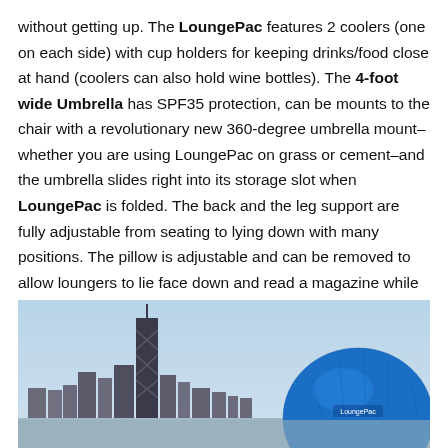without getting up. The LoungePac features 2 coolers (one on each side) with cup holders for keeping drinks/food close at hand (coolers can also hold wine bottles). The 4-foot wide Umbrella has SPF35 protection, can be mounts to the chair with a revolutionary new 360-degree umbrella mount–whether you are using LoungePac on grass or cement–and the umbrella slides right into its storage slot when LoungePac is folded. The back and the leg support are fully adjustable from seating to lying down with many positions. The pillow is adjustable and can be removed to allow loungers to lie face down and read a magazine while looking through a face hole.
[Figure (photo): Photo of a city skyline (appears to be Chicago with tall skyscraper) with a large blue dome/umbrella structure visible on the right side, taken against a light blue sky.]